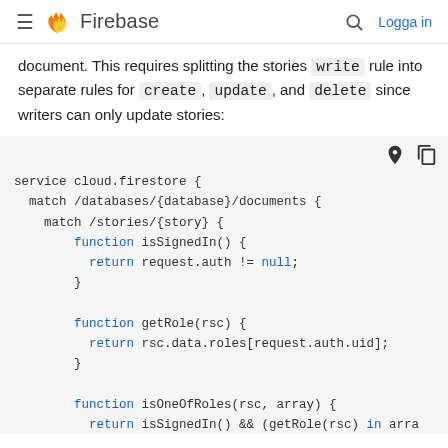Firebase — Logga in
document. This requires splitting the stories write rule into separate rules for create, update, and delete since writers can only update stories:
[Figure (screenshot): Firebase Firestore security rules code block showing service cloud.firestore, match /databases/{database}/documents, match /stories/{story}, functions isSignedIn(), getRole(rsc), and isOneOfRoles(rsc, array)]